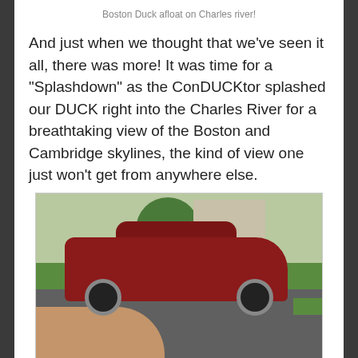Boston Duck afloat on Charles river!
And just when we thought that we’ve seen it all, there was more! It was time for a “Splashdown” as the ConDUCKtor splashed our DUCK right into the Charles River for a breathtaking view of the Boston and Cambridge skylines, the kind of view one just won’t get from anywhere else.
[Figure (photo): A red Dodge Charger sedan parked on a driveway with a brick path, green lawn, trees, and a house in the background.]